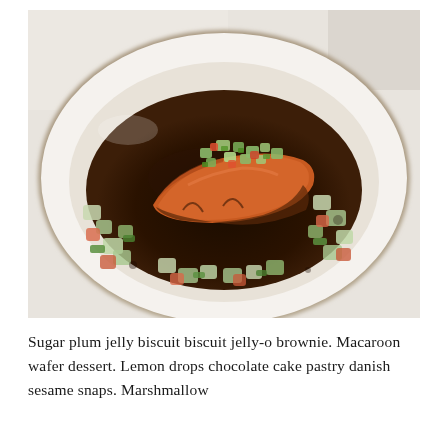[Figure (photo): A plated salmon fillet on a white dish, served over wilted spinach and diced vegetables (cucumber, tomato, green onion) in a dark sauce, garnished with a fresh cucumber salsa on top.]
Sugar plum jelly biscuit biscuit jelly-o brownie. Macaroon wafer dessert. Lemon drops chocolate cake pastry danish sesame snaps. Marshmallow